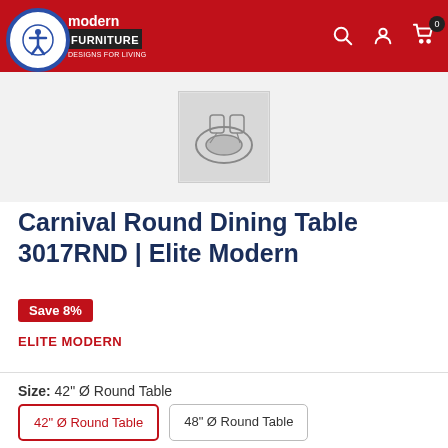Modern Furniture | Elite Modern furniture store
[Figure (photo): Product thumbnail photo of the Carnival Round Dining Table 3017RND showing chairs around a round table]
Carnival Round Dining Table 3017RND | Elite Modern
Save 8%
ELITE MODERN
Size: 42" Ø Round Table
42" Ø Round Table
48" Ø Round Table